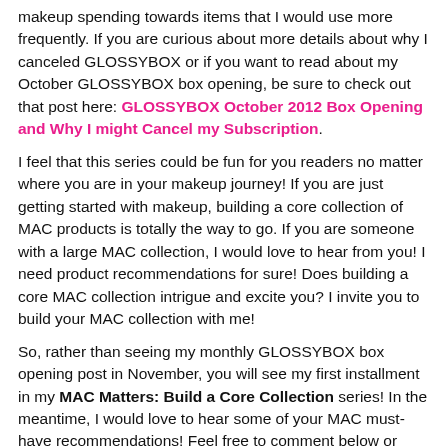makeup spending towards items that I would use more frequently. If you are curious about more details about why I canceled GLOSSYBOX or if you want to read about my October GLOSSYBOX box opening, be sure to check out that post here: GLOSSYBOX October 2012 Box Opening and Why I might Cancel my Subscription.
I feel that this series could be fun for you readers no matter where you are in your makeup journey! If you are just getting started with makeup, building a core collection of MAC products is totally the way to go. If you are someone with a large MAC collection, I would love to hear from you! I need product recommendations for sure! Does building a core MAC collection intrigue and excite you? I invite you to build your MAC collection with me!
So, rather than seeing my monthly GLOSSYBOX box opening post in November, you will see my first installment in my MAC Matters: Build a Core Collection series! In the meantime, I would love to hear some of your MAC must-have recommendations! Feel free to comment below or leave a comment on my facebook, twitter, or instagram!